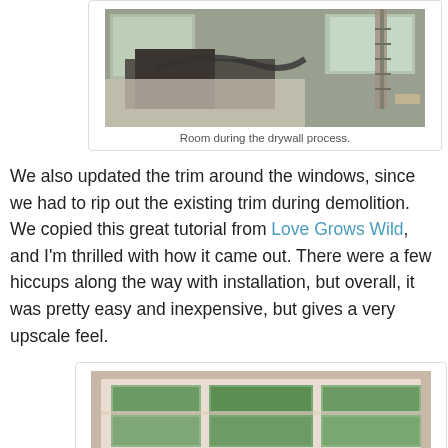[Figure (photo): Room during the drywall process showing construction materials, ladders, and covered floors]
Room during the drywall process.
We also updated the trim around the windows, since we had to rip out the existing trim during demolition. We copied this great tutorial from Love Grows Wild, and I'm thrilled with how it came out. There were a few hiccups along the way with installation, but overall, it was pretty easy and inexpensive, but gives a very upscale feel.
[Figure (photo): Window with updated white trim in a room with green trees visible outside]